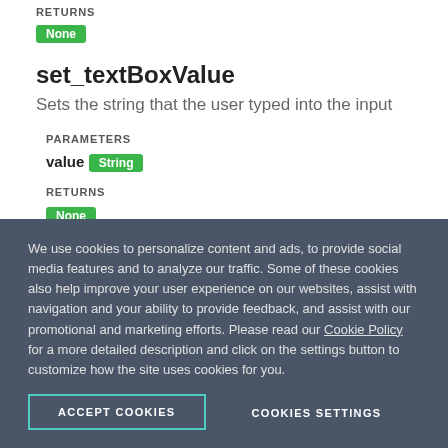RETURNS
None
set_textBoxValue
Sets the string that the user typed into the input
PARAMETERS
value String
RETURNS
None
We use cookies to personalize content and ads, to provide social media features and to analyze our traffic. Some of these cookies also help improve your user experience on our websites, assist with navigation and your ability to provide feedback, and assist with our promotional and marketing efforts. Please read our Cookie Policy for a more detailed description and click on the settings button to customize how the site uses cookies for you.
ACCEPT COOKIES
COOKIES SETTINGS